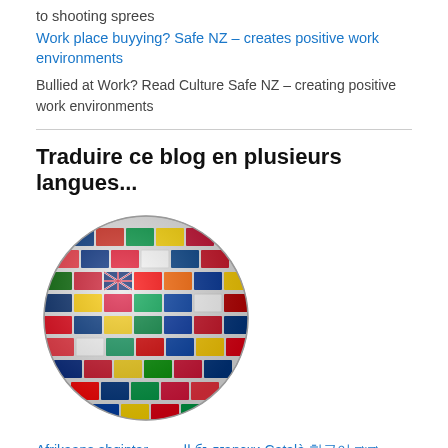to shooting sprees
Work place buyying? Safe NZ – creates positive work environments
Bullied at Work? Read Culture Safe NZ – creating positive work environments
Traduire ce blog en plusieurs langues...
[Figure (illustration): A globe made up of many country flags arranged in a spherical shape.]
Afrikaans shqiptar العربية български Català 한국어 বাংলা Hrvatska Czech Danske Nederlandse Eesti Filipino Suomalainen Français Galego Deutsch Ελληνικά עברית हिन्दी Magyar Bahasa Indonesia Italiana 日本語 한국어 Latvijas Lietuviškai Malti Norske Polska Portuguese Romanian Россию Српска Slovenkému Slovenščina Español Svenska ภาษาไทย Türk Українське Việt יידיש